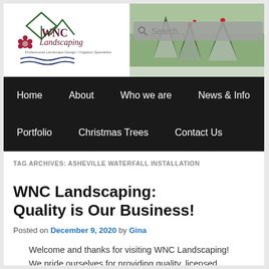[Figure (logo): WNC Landscaping logo with house/mountain icon, flower, and tagline 'Professional Landscape Design + Irrigation Specialists']
[Figure (photo): Winter landscape photo with snow-covered trees and red berries]
Home  About  Who we are  News & Info  Portfolio  Christmas Trees  Contact Us
TAG ARCHIVES: ASHEVILLE WATERFALL INSTALLATION
WNC Landscaping: Quality is Our Business!
Posted on December 9, 2020 by Gina
Welcome and thanks for visiting WNC Landscaping! We pride ourselves for providing quality, licensed, professional landscaping for over